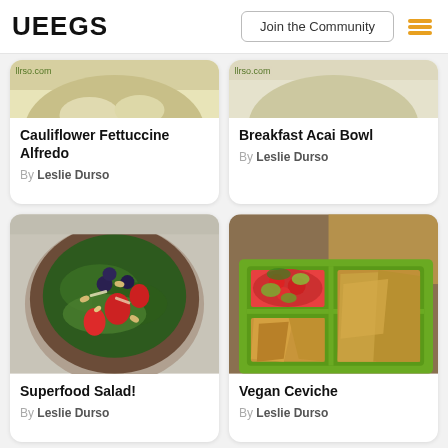VEEGS | Join the Community
[Figure (photo): Partial photo of Cauliflower Fettuccine Alfredo dish with watermark 'llrso.com']
Cauliflower Fettuccine Alfredo
By Leslie Durso
[Figure (photo): Partial photo of Breakfast Acai Bowl with watermark 'llrso.com']
Breakfast Acai Bowl
By Leslie Durso
[Figure (photo): Photo of Superfood Salad in a dark bowl with strawberries, blueberries, greens, and nuts]
Superfood Salad!
By Leslie Durso
[Figure (photo): Photo of Vegan Ceviche - colorful salsa/ceviche in a green divided tray with tortilla chips]
Vegan Ceviche
By Leslie Durso